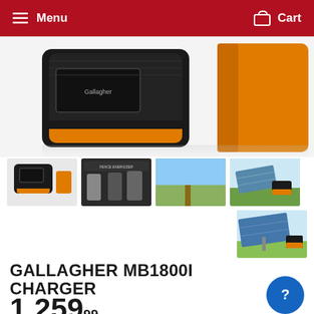Menu   Cart
[Figure (photo): Main product image of Gallagher MB1800i solar fence charger, close-up showing black and orange device body]
[Figure (photo): Thumbnail 1: Front view of Gallagher MB1800i charger unit with display, black and orange]
[Figure (photo): Thumbnail 2: Product diagram/spec sheet showing multiple mounting configurations]
[Figure (photo): Thumbnail 3: Gallagher MB1800i mounted on a fence post in a field]
[Figure (photo): Thumbnail 4: Gallagher MB1800i with solar panel on a stand in a field]
[Figure (photo): Thumbnail 5: Gallagher MB1800i with large solar panel on a stand in a green field]
GALLAGHER MB1800I CHARGER
1,259.99